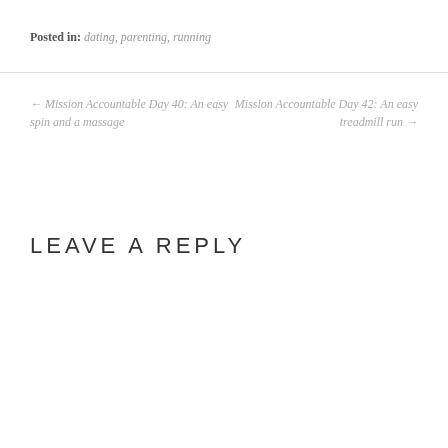Posted in: dating, parenting, running
← Mission Accountable Day 40: An easy spin and a massage
Mission Accountable Day 42: An easy treadmill run →
LEAVE A REPLY